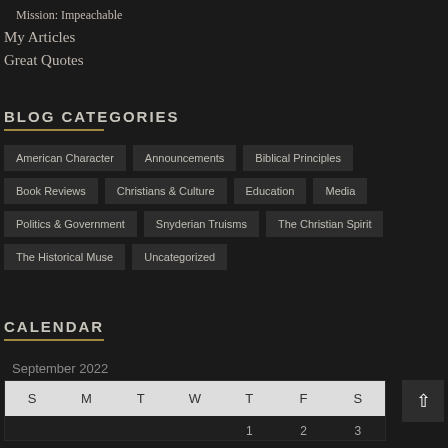Mission: Impeachable
My Articles
Great Quotes
BLOG CATEGORIES
American Character
Announcements
Biblical Principles
Book Reviews
Christians & Culture
Education
Media
Politics & Government
Snyderian Truisms
The Christian Spirit
The Historical Muse
Uncategorized
CALENDAR
September 2022
| S | M | T | W | T | F | S |
| --- | --- | --- | --- | --- | --- | --- |
|  |  |  |  | 1 | 2 | 3 |